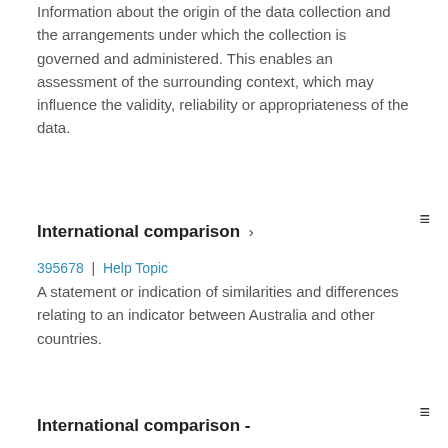Information about the origin of the data collection and the arrangements under which the collection is governed and administered. This enables an assessment of the surrounding context, which may influence the validity, reliability or appropriateness of the data.
International comparison >
395678 | Help Topic
A statement or indication of similarities and differences relating to an indicator between Australia and other countries.
International comparison -